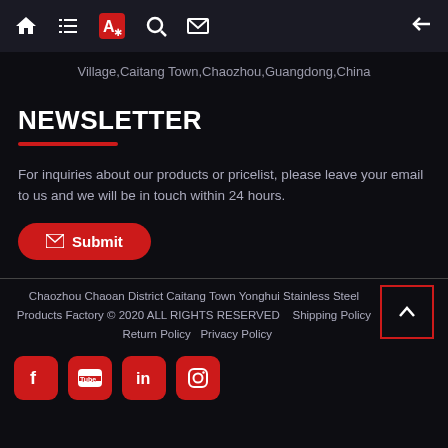Navigation bar with home, list, translate, search, mail, and back icons
Village,Caitang Town,Chaozhou,Guangdong,China
NEWSLETTER
For inquiries about our products or pricelist, please leave your email to us and we will be in touch within 24 hours.
Submit
Chaozhou Chaoan District Caitang Town Yonghui Stainless Steel Products Factory © 2020 ALL RIGHTS RESERVED    Shipping Policy   Return Policy   Privacy Policy